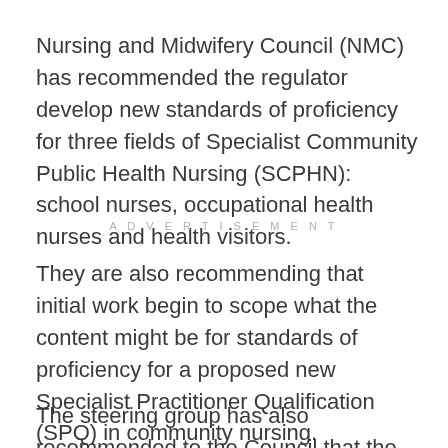Nursing and Midwifery Council (NMC) has recommended the regulator develop new standards of proficiency for three fields of Specialist Community Public Health Nursing (SCPHN): school nurses, occupational health nurses and health visitors.
ADVERTISEMENT
They are also recommending that initial work begin to scope what the content might be for standards of proficiency for a proposed new Specialist Practitioner Qualification (SPQ) in community nursing.
The steering group has also recommended to the Council that the NMC undertakes the review of these